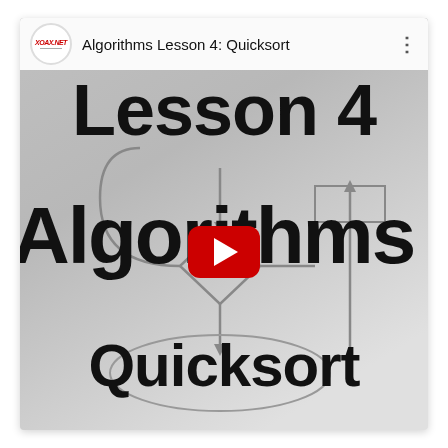[Figure (screenshot): YouTube video thumbnail/embed for 'Algorithms Lesson 4: Quicksort' from xoax.net. Shows a grey flowchart background with bold text 'Lesson 4' at top, 'Algorithms' in large bold text in the middle, a YouTube red play button centered, and 'Quicksort' in bold at the bottom inside an oval. The top bar shows the xoax.net logo, title 'Algorithms Lesson 4: Quicksort', and a three-dot menu icon.]